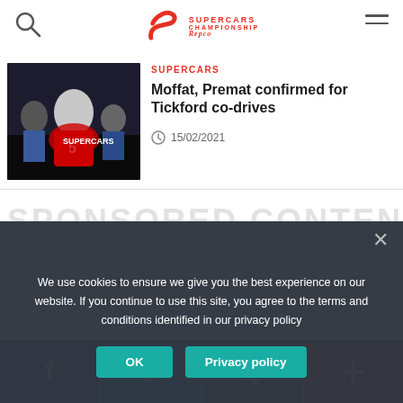Supercars Championship Repco - website header with search and hamburger menu
[Figure (photo): Racing driver photo holding trophy at Supercars event]
SUPERCARS
Moffat, Premat confirmed for Tickford co-drives
15/02/2021
SPONSORED CONTENT
We use cookies to ensure we give you the best experience on our website. If you continue to use this site, you agree to the terms and conditions identified in our privacy policy
Facebook | Twitter | Email | More share options